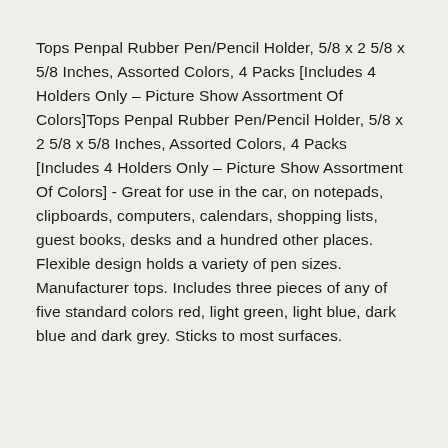Tops Penpal Rubber Pen/Pencil Holder, 5/8 x 2 5/8 x 5/8 Inches, Assorted Colors, 4 Packs [Includes 4 Holders Only – Picture Show Assortment Of Colors]Tops Penpal Rubber Pen/Pencil Holder, 5/8 x 2 5/8 x 5/8 Inches, Assorted Colors, 4 Packs [Includes 4 Holders Only – Picture Show Assortment Of Colors] - Great for use in the car, on notepads, clipboards, computers, calendars, shopping lists, guest books, desks and a hundred other places. Flexible design holds a variety of pen sizes. Manufacturer tops. Includes three pieces of any of five standard colors red, light green, light blue, dark blue and dark grey. Sticks to most surfaces.